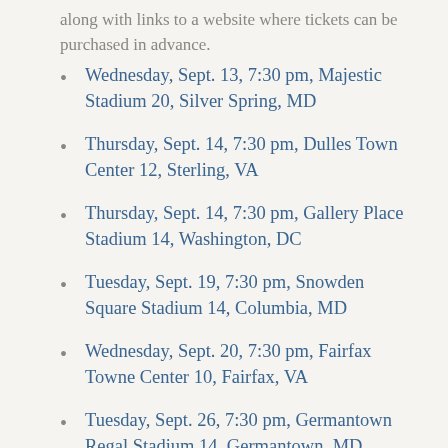along with links to a website where tickets can be purchased in advance.
Wednesday, Sept. 13, 7:30 pm, Majestic Stadium 20, Silver Spring, MD
Thursday, Sept. 14, 7:30 pm, Dulles Town Center 12, Sterling, VA
Thursday, Sept. 14, 7:30 pm, Gallery Place Stadium 14, Washington, DC
Tuesday, Sept. 19, 7:30 pm, Snowden Square Stadium 14, Columbia, MD
Wednesday, Sept. 20, 7:30 pm, Fairfax Towne Center 10, Fairfax, VA
Tuesday, Sept. 26, 7:30 pm, Germantown Regal Stadium 14, Germantown, MD
Once the requisite number of tickets have been purchased to confirm the screening, you will receive an